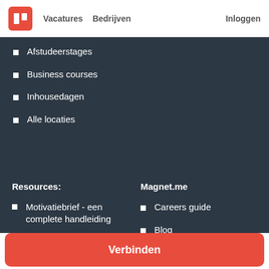m  Vacatures  Bedrijven  Inloggen
Afstudeerstages
Business courses
Inhousedagen
Alle locaties
Resources:
Magnet.me
Motivatiebrief - een complete handleiding
Careers guide
Solliciteren voor een stage - een complete gids
Blog
Over ons (pers)
Verbinden